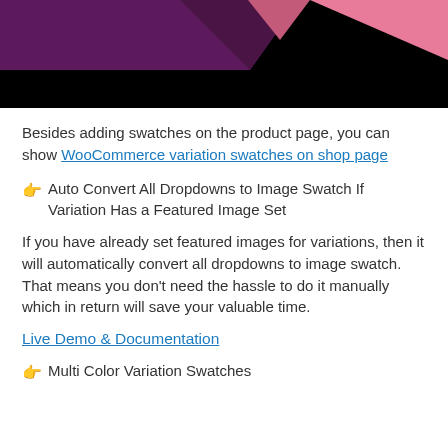[Figure (illustration): Decorative banner image with dark purple/maroon and pink/rose color shapes on a black background, partially cropped at top]
Besides adding swatches on the product page, you can show WooCommerce variation swatches on shop page
👉 Auto Convert All Dropdowns to Image Swatch If Variation Has a Featured Image Set
If you have already set featured images for variations, then it will automatically convert all dropdowns to image swatch. That means you don't need the hassle to do it manually which in return will save your valuable time.
Live Demo & Documentation
👉 Multi Color Variation Swatches